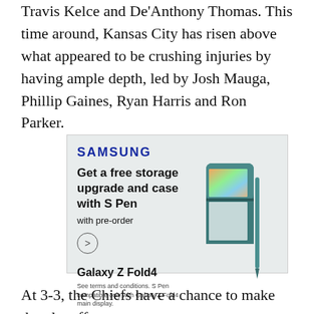Travis Kelce and De'Anthony Thomas. This time around, Kansas City has risen above what appeared to be crushing injuries by having ample depth, led by Josh Mauga, Phillip Gaines, Ryan Harris and Ron Parker.
[Figure (illustration): Samsung advertisement for Galaxy Z Fold4. Text reads: SAMSUNG, Get a free storage upgrade and case with S Pen, with pre-order, arrow button, Galaxy Z Fold4. Fine print: See terms and conditions. S Pen compatible only with Galaxy Z Fold4 main display. Right side shows a teal/dark green foldable Samsung Galaxy Z Fold4 phone with an S Pen stylus.]
At 3-3, the Chiefs have a chance to make the playoffs